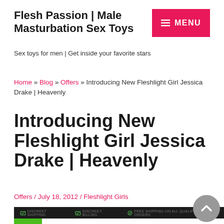Flesh Passion | Male Masturbation Sex Toys
Sex toys for men | Get inside your favorite stars
Home » Blog » Offers » Introducing New Fleshlight Girl Jessica Drake | Heavenly
Introducing New Fleshlight Girl Jessica Drake | Heavenly
Offers / July 18, 2012 / Fleshlight Girls
[Figure (screenshot): Fleshlight website banner showing top bar with DISCREET SHIPPING, DISCREET BILLING, FREE SHIPPING ON ALL QUALIFYING ORDERS, and Fleshlight logo on green background]